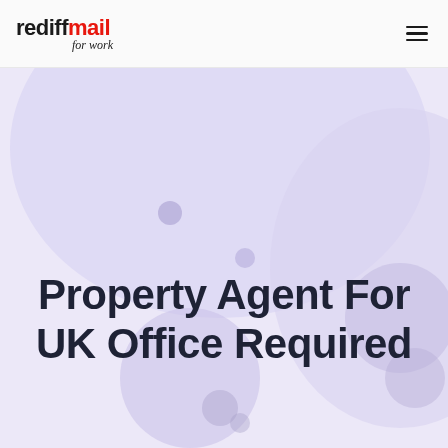rediffmail for work
[Figure (illustration): Light purple/lavender hero background with decorative blobs and circular shapes in varying shades of purple and lavender]
Property Agent For UK Office Required